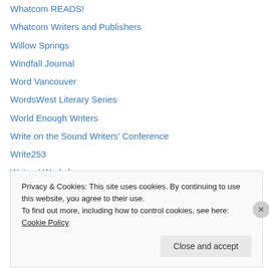Whatcom READS!
Whatcom Writers and Publishers
Willow Springs
Windfall Journal
Word Vancouver
WordsWest Literary Series
World Enough Writers
Write on the Sound Writers' Conference
Write253
Writers' Workshoppe
Writing It Real with Sheila Bender
Yakima Coffeehouse Poets
YesYes Books
Privacy & Cookies: This site uses cookies. By continuing to use this website, you agree to their use.
To find out more, including how to control cookies, see here: Cookie Policy
Close and accept